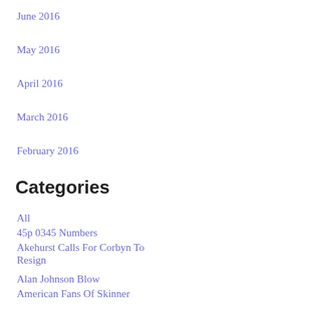June 2016
May 2016
April 2016
March 2016
February 2016
Categories
All
45p 0345 Numbers
Akehurst Calls For Corbyn To Resign
Alan Johnson Blow
American Fans Of Skinner
Andrea Leadsom
Andrew Marr